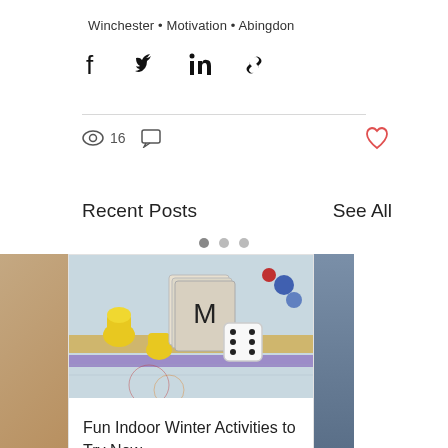Winchester • Motivation • Abingdon
[Figure (screenshot): Social sharing icons: Facebook, Twitter, LinkedIn, Link]
16 views, 0 comments, heart/like button
Recent Posts
See All
[Figure (photo): Board game (Monopoly-style) with yellow pieces and dice on a colorful game board]
Fun Indoor Winter Activities to Try Now